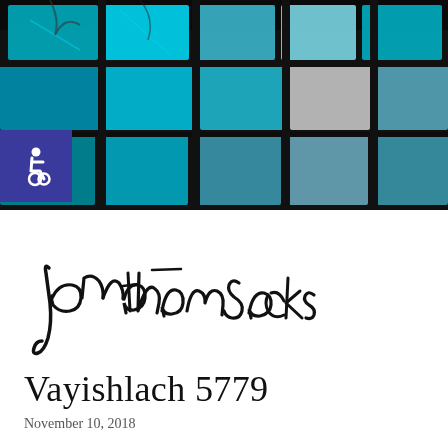[Figure (photo): Stained glass window panels in blue, green, turquoise and white colors viewed from below at an angle, with dark frames between panes]
[Figure (logo): Wheelchair accessibility symbol icon, white on dark blue/purple square background]
[Figure (illustration): Handwritten cursive signature reading 'Jonathan Sacks' in black ink on white background]
Vayishlach 5779
November 10, 2018